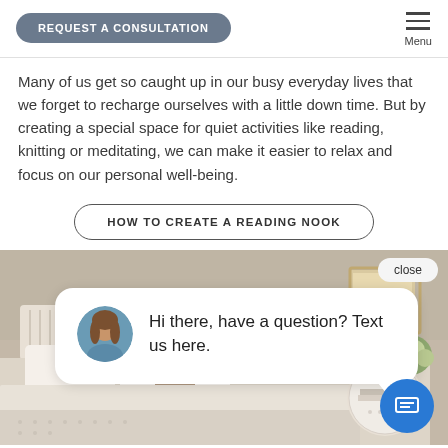REQUEST A CONSULTATION | Menu
Many of us get so caught up in our busy everyday lives that we forget to recharge ourselves with a little down time. But by creating a special space for quiet activities like reading, knitting or meditating, we can make it easier to relax and focus on our personal well-being.
HOW TO CREATE A READING NOOK
[Figure (screenshot): Photograph of a bedroom with neutral tones, beige bedding, pillows, a bedside table with flowers and a lamp, and a window in the background. A chat widget overlays the image with text 'Hi there, have a question? Text us here.' and a close button.]